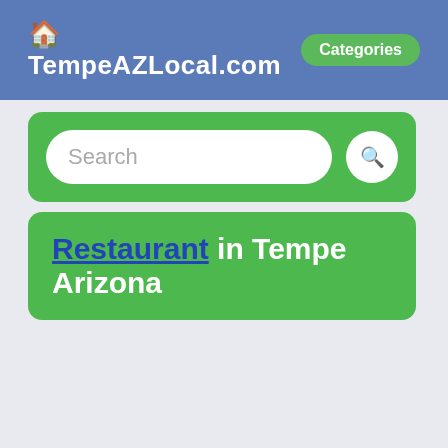TempeAZLocal.com  Categories
[Figure (screenshot): Search bar with text input field and search button, set on green background]
Restaurant in Tempe Arizona